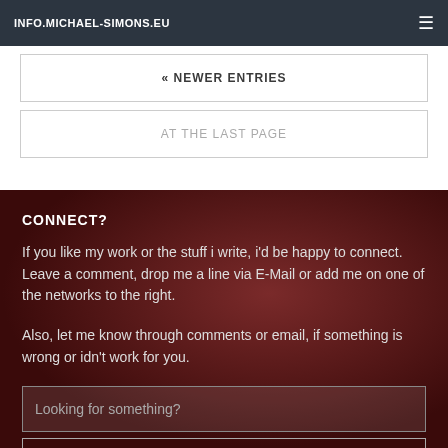INFO.MICHAEL-SIMONS.EU
« NEWER ENTRIES
AT THE LAST PAGE
CONNECT?
If you like my work or the stuff i write, i'd be happy to connect. Leave a comment, drop me a line via E-Mail or add me on one of the networks to the right.
Also, let me know through comments or email, if something is wrong or idn't work for you.
Looking for something?
SEARCH